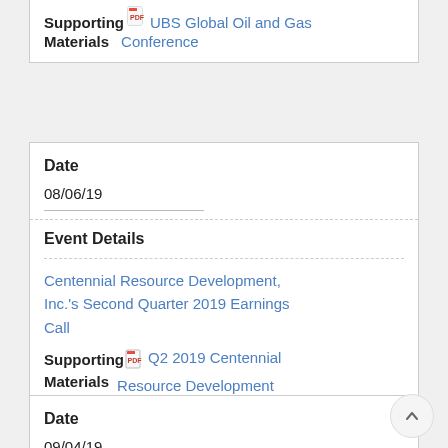Supporting [pdf] UBS Global Oil and Gas Materials Conference
Date
08/06/19
Event Details
Centennial Resource Development, Inc.'s Second Quarter 2019 Earnings Call
Supporting [pdf] Q2 2019 Centennial Resource Development Earnings Conference Call Presentation
Date
09/04/19